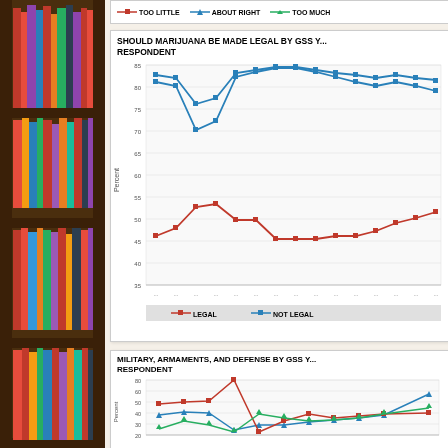[Figure (photo): Bookshelf with colorful books on the left side of the page]
[Figure (line-chart): SHOULD MARIJUANA BE MADE LEGAL BY GSS YEAR BY RESPONDENT]
[Figure (line-chart): MILITARY, ARMAMENTS, AND DEFENSE BY GSS YEAR BY RESPONDENT]